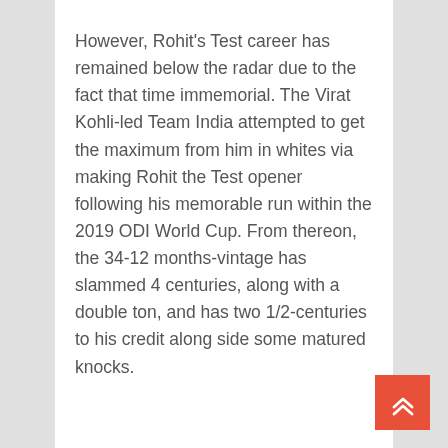However, Rohit's Test career has remained below the radar due to the fact that time immemorial. The Virat Kohli-led Team India attempted to get the maximum from him in whites via making Rohit the Test opener following his memorable run within the 2019 ODI World Cup. From thereon, the 34-12 months-vintage has slammed 4 centuries, along with a double ton, and has two 1/2-centuries to his credit along side some matured knocks.